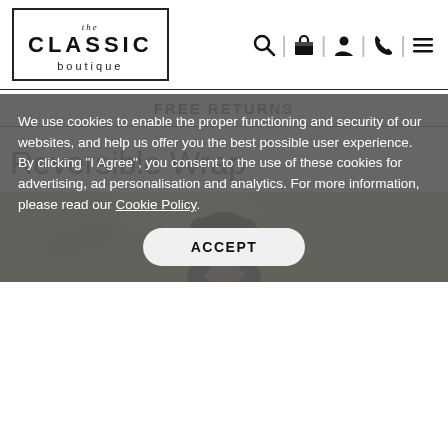the CLASSIC boutique
FREE RETURNS
Reversible Wrap
[Figure (photo): Outdoor photo of woman with dark hair against green foliage background]
We use cookies to enable the proper functioning and security of our websites, and help us offer you the best possible user experience. By clicking "I Agree", you consent to the use of these cookies for advertising, ad personalisation and analytics. For more information, please read our Cookie Policy.
ACCEPT